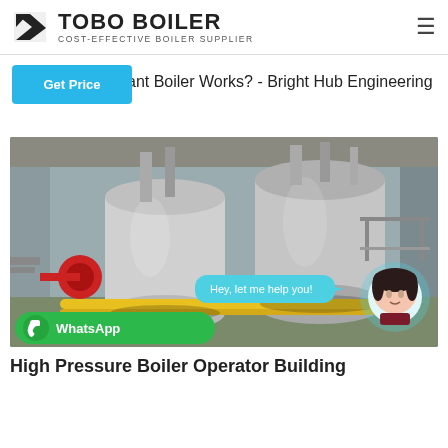TOBO BOILER — COST-EFFECTIVE BOILER SUPPLIER
ant Boiler Works? - Bright Hub Engineering
Get Price
[Figure (photo): Industrial boiler installation inside a large warehouse/factory building. Two large horizontal cylindrical boilers with piping, platforms, and machinery visible. WhatsApp chat widget and avatar overlay on the image.]
High Pressure Boiler Operator Building